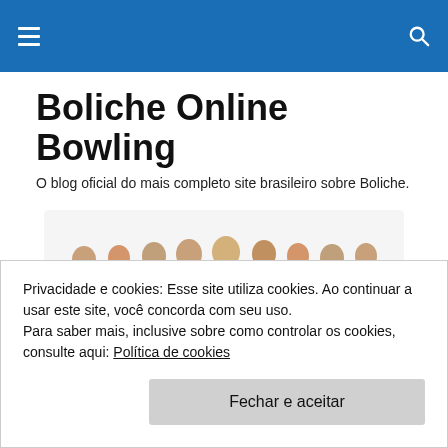Boliche Online Bowling — navigation header bar
Boliche Online Bowling
O blog oficial do mais completo site brasileiro sobre Boliche.
[Figure (photo): Group photo of multiple bowling players holding bowling balls, posed together in action stances.]
MONTHLY ARCHIVES: JULHO 2020
Privacidade e cookies: Esse site utiliza cookies. Ao continuar a usar este site, você concorda com seu uso.
Para saber mais, inclusive sobre como controlar os cookies, consulte aqui: Política de cookies
Fechar e aceitar